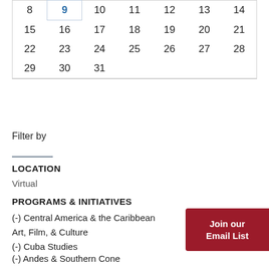| 8 | 9 | 10 | 11 | 12 | 13 | 14 |
| 15 | 16 | 17 | 18 | 19 | 20 | 21 |
| 22 | 23 | 24 | 25 | 26 | 27 | 28 |
| 29 | 30 | 31 |  |  |  |  |
Filter by
LOCATION
Virtual
PROGRAMS & INITIATIVES
(-) Central America & the Caribbean
Art, Film, & Culture
(-) Cuba Studies
(-) Andes & Southern Cone
[Figure (other): Join our Email List button (dark red/crimson background, white bold text)]